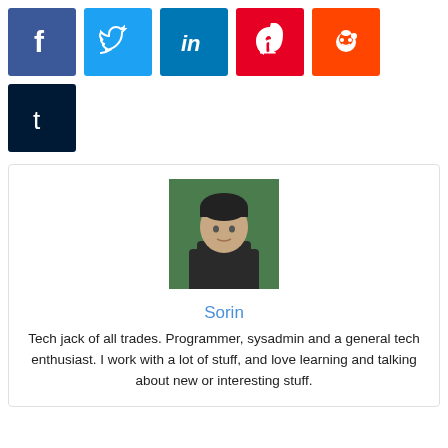[Figure (logo): Social media share icons row: Facebook (blue), Twitter (light blue), LinkedIn (dark blue), Pinterest (red), Reddit (orange)]
[Figure (logo): Tumblr social media icon (dark navy)]
[Figure (photo): Author profile photo: young man with dark hair against green background]
Sorin
Tech jack of all trades. Programmer, sysadmin and a general tech enthusiast. I work with a lot of stuff, and love learning and talking about new or interesting stuff.